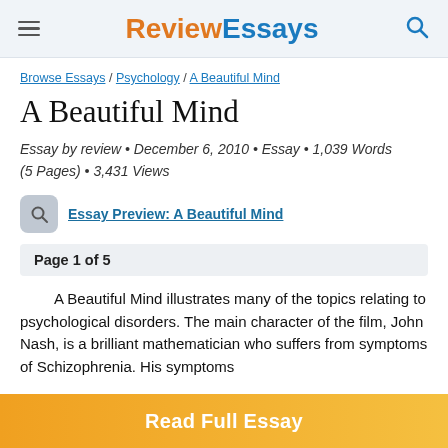ReviewEssays
Browse Essays / Psychology / A Beautiful Mind
A Beautiful Mind
Essay by review • December 6, 2010 • Essay • 1,039 Words (5 Pages) • 3,431 Views
Essay Preview: A Beautiful Mind
Page 1 of 5
A Beautiful Mind illustrates many of the topics relating to psychological disorders. The main character of the film, John Nash, is a brilliant mathematician who suffers from symptoms of Schizophrenia. His symptoms
Read Full Essay